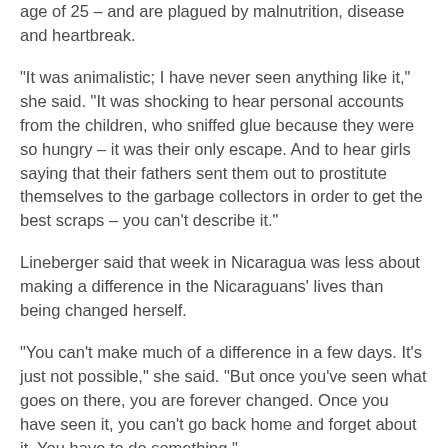age of 25 – and are plagued by malnutrition, disease and heartbreak.
“It was animalistic; I have never seen anything like it,” she said. “It was shocking to hear personal accounts from the children, who sniffed glue because they were so hungry – it was their only escape. And to hear girls saying that their fathers sent them out to prostitute themselves to the garbage collectors in order to get the best scraps – you can’t describe it.”
Lineberger said that week in Nicaragua was less about making a difference in the Nicaraguans’ lives than being changed herself.
“You can’t make much of a difference in a few days. It’s just not possible,” she said. “But once you’ve seen what goes on there, you are forever changed. Once you have seen it, you can’t go back home and forget about it. You have to do something.”